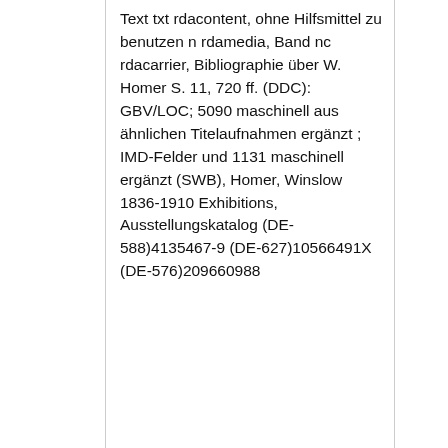Text txt rdacontent, ohne Hilfsmittel zu benutzen n rdamedia, Band nc rdacarrier, Bibliographie über W. Homer S. 11, 720 ff. (DDC): GBV/LOC; 5090 maschinell aus ähnlichen Titelaufnahmen ergänzt ; IMD-Felder und 1131 maschinell ergänzt (SWB), Homer, Winslow 1836-1910 Exhibitions, Ausstellungskatalog (DE-588)4135467-9 (DE-627)10566491X (DE-576)209660988